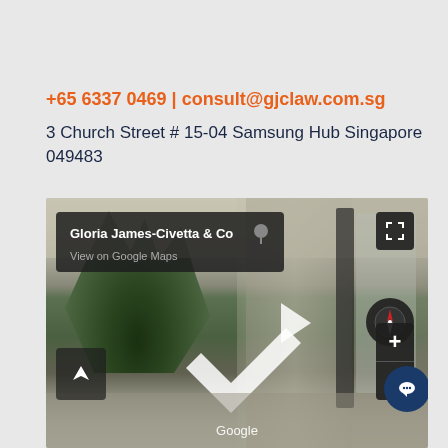+65 6337 0469 | consult@gjclaw.com.sg
3 Church Street # 15-04 Samsung Hub Singapore 049483
[Figure (screenshot): Google Street View screenshot showing interior of Gloria James-Civetta & Co law office. Info panel in top-left shows business name and 'View on Google Maps'. Navigation controls visible including compass, zoom buttons, and directional arrows. Google watermark at bottom center.]